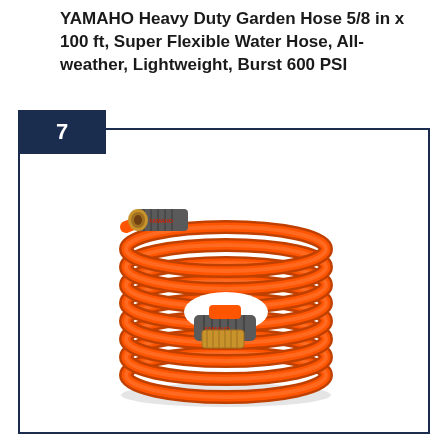YAMAHO Heavy Duty Garden Hose 5/8 in x 100 ft, Super Flexible Water Hose, All-weather, Lightweight, Burst 600 PSI
[Figure (photo): A coiled orange YAMAHO heavy duty garden hose with gray and gold brass fittings on both ends, shown on a white background. The hose is coiled in a neat circular stack. The number 7 appears in a dark navy badge in the upper-left corner of the bordered product image frame.]